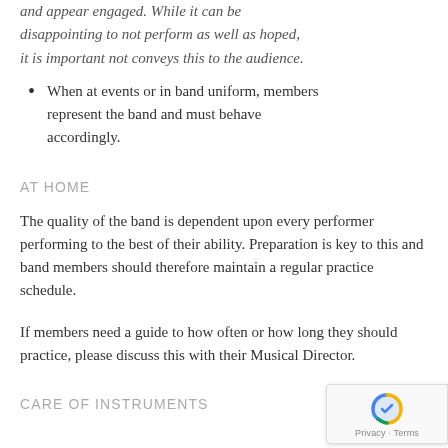and appear engaged. While it can be disappointing to not perform as well as hoped, it is important not conveys this to the audience.
When at events or in band uniform, members represent the band and must behave accordingly.
AT HOME
The quality of the band is dependent upon every performer performing to the best of their ability. Preparation is key to this and band members should therefore maintain a regular practice schedule.
If members need a guide to how often or how long they should practice, please discuss this with their Musical Director.
CARE OF INSTRUMENTS